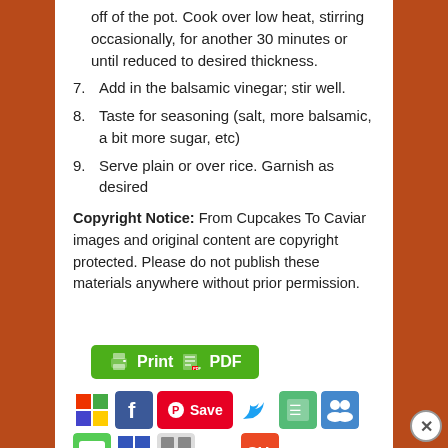off of the pot. Cook over low heat, stirring occasionally, for another 30 minutes or until reduced to desired thickness.
7. Add in the balsamic vinegar; stir well.
8. Taste for seasoning (salt, more balsamic, a bit more sugar, etc)
9. Serve plain or over rice. Garnish as desired
Copyright Notice: From Cupcakes To Caviar images and original content are copyright protected. Please do not publish these materials anywhere without prior permission.
[Figure (other): Print & PDF button (green)]
[Figure (other): Social sharing icons row including Windows, Facebook, Pinterest Save, Twitter, and other sharing icons]